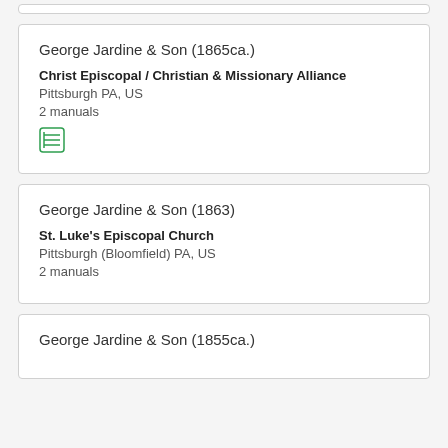George Jardine & Son (1865ca.)
Christ Episcopal / Christian & Missionary Alliance
Pittsburgh PA, US
2 manuals
George Jardine & Son (1863)
St. Luke's Episcopal Church
Pittsburgh (Bloomfield) PA, US
2 manuals
George Jardine & Son (1855ca.)